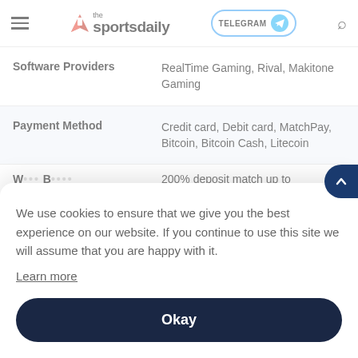the sportsdaily | TELEGRAM | search
| Feature | Details |
| --- | --- |
| Software Providers | RealTime Gaming, Rival, Makitone Gaming |
| Payment Method | Credit card, Debit card, MatchPay, Bitcoin, Bitcoin Cash, Litecoin |
| Welcome Bonus | 200% deposit match up to ... |
| W... |  |
| C... |  |
We use cookies to ensure that we give you the best experience on our website. If you continue to use this site we will assume that you are happy with it.
Learn more
Okay